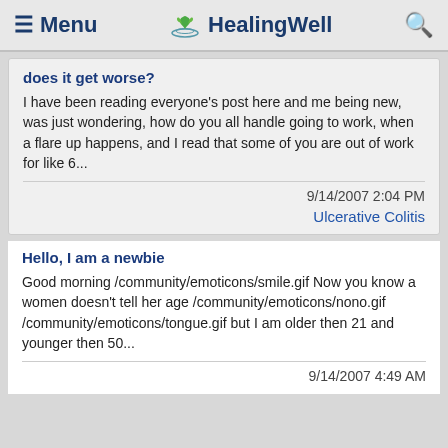≡ Menu   HealingWell   🔍
does it get worse?
I have been reading everyone's post here and me being new, was just wondering, how do you all handle going to work, when a flare up happens, and I read that some of you are out of work for like 6...
9/14/2007 2:04 PM
Ulcerative Colitis
Hello, I am a newbie
Good morning /community/emoticons/smile.gif Now you know a women doesn't tell her age /community/emoticons/nono.gif /community/emoticons/tongue.gif but I am older then 21 and younger then 50...
9/14/2007 4:49 AM